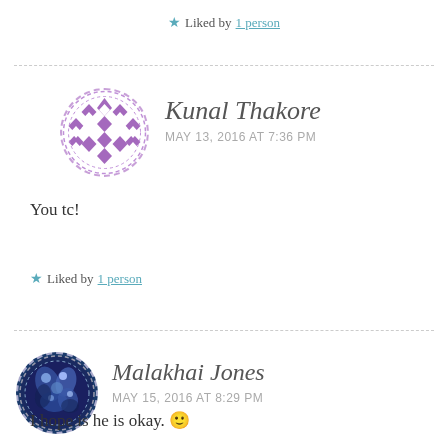★ Liked by 1 person
Kunal Thakore
MAY 13, 2016 AT 7:36 PM
You tc!
★ Liked by 1 person
Malakhai Jones
MAY 15, 2016 AT 8:29 PM
I hope is he is okay. 🙂